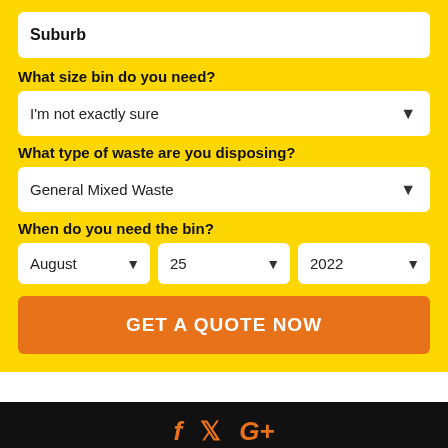Suburb
What size bin do you need?
I'm not exactly sure
What type of waste are you disposing?
General Mixed Waste
When do you need the bin?
August | 25 | 2022
GET A QUOTE NOW
[Figure (infographic): Social media icons: Facebook (f), Twitter (bird), Google+ (G+) in orange on black background]
Zaks Bin Hire is rated 4.8 out of 5 stars from 5 customers on Google